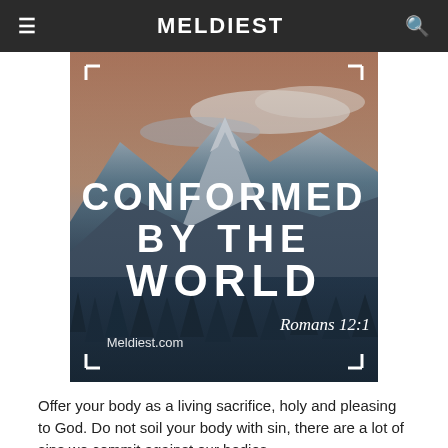MELDIEST
[Figure (illustration): Mountain landscape photo with snow-capped peaks, pine forest below, pink-orange sky. Overlaid text reads 'CONFORMED BY THE WORLD' in large bold white uppercase letters, 'Romans 12:1' in white italic, 'Meldiest.com' in white, with corner bracket decorations.]
Offer your body as a living sacrifice, holy and pleasing to God. Do not soil your body with sin, there are a lot of sins we commit against our bodies.